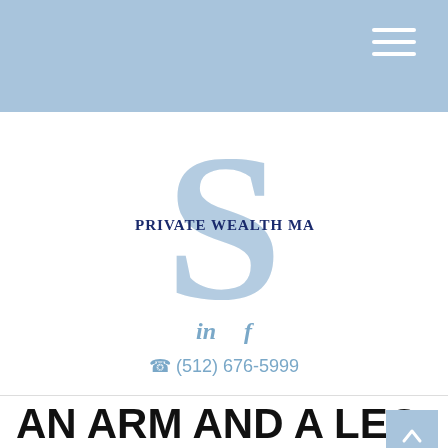Navigation bar with hamburger menu
[Figure (logo): Sparkman Private Wealth Management logo with large light blue S lettermark and company name in dark navy small-caps text]
in f
(512) 676-5999
AN ARM AND A LEG
A visit to the hospital can be painful, for both your body